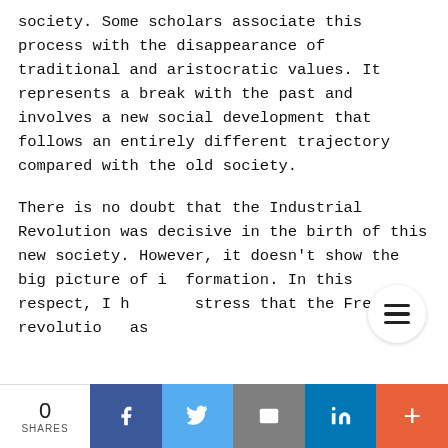society. Some scholars associate this process with the disappearance of traditional and aristocratic values. It represents a break with the past and involves a new social development that follows an entirely different trajectory compared with the old society.
There is no doubt that the Industrial Revolution was decisive in the birth of this new society. However, it doesn't show the big picture of its formation. In this respect, I have to stress that the French revolution was